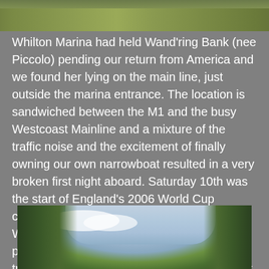[Figure (photo): Top portion of a landscape photo showing grass/field area, partially cropped]
Whilton Marina had held Wand'ring Bank (nee Piccolo) pending our return from America and we found her lying on the main line, just outside the marina entrance. The location is sandwiched between the M1 and the busy Westcoast Mainline and a mixture of the traffic noise and the excitement of finally owning our own narrowboat resulted in a very broken first night aboard. Saturday 10th was the start of England's 2006 World Cup campaign, with a match against Paraguay. We were keen to watch this match if at all possible and after close reference to our trusty Pearson's aimed for the Old Royal Oak pub at bridge 73 of the Northern Oxford. We made it to the pub with 20 mins to spare, secured excellent seats and settled in to watch a very satisfying England win.
[Figure (photo): Photo looking upward through tree canopy with blue sky and clouds visible between the trees]